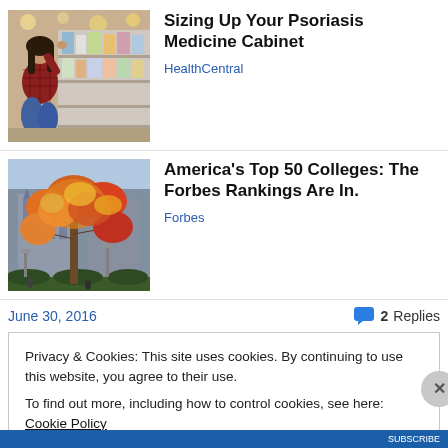[Figure (photo): Woman crouching in a pharmacy/store aisle looking at products on shelves, wearing a plaid shirt and jeans]
Sizing Up Your Psoriasis Medicine Cabinet
HealthCentral
[Figure (photo): Autumn tree with orange and yellow leaves in front of a building, likely a college campus]
America's Top 50 Colleges: The Forbes Rankings Are In.
Forbes
June 30, 2016
2 Replies
Privacy & Cookies: This site uses cookies. By continuing to use this website, you agree to their use.
To find out more, including how to control cookies, see here: Cookie Policy